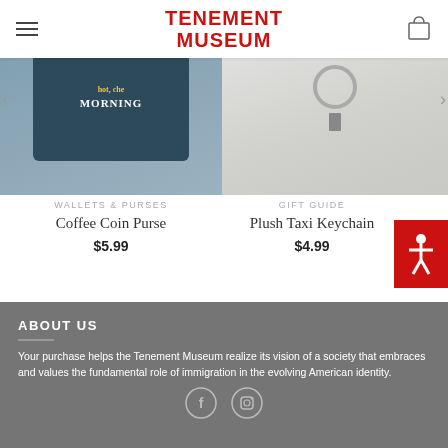TENEMENT MUSEUM
[Figure (photo): Product image of Coffee Coin Purse - a dark colored coin purse with coffee themed text reading 'hot, che... and bit the MORNING']
[Figure (photo): Product image of Plush Taxi Keychain - a small taxi-shaped plush on a keyring]
WALLETS & PURSES
Coffee Coin Purse
$5.99
GIFT GUIDE
Plush Taxi Keychain
$4.99
ABOUT US
Your purchase helps the Tenement Museum realize its vision of a society that embraces and values the fundamental role of immigration in the evolving American identity.